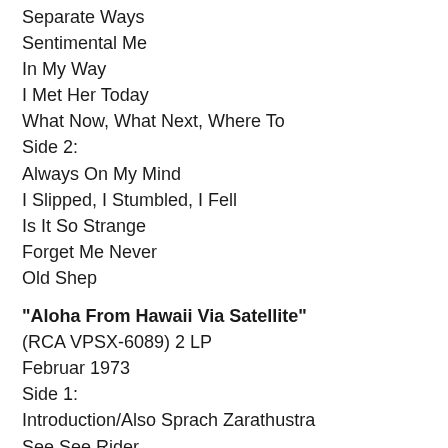Separate Ways
Sentimental Me
In My Way
I Met Her Today
What Now, What Next, Where To
Side 2:
Always On My Mind
I Slipped, I Stumbled, I Fell
Is It So Strange
Forget Me Never
Old Shep
"Aloha From Hawaii Via Satellite"
(RCA VPSX-6089) 2 LP
Februar 1973
Side 1:
Introduction/Also Sprach Zarathustra
See See Rider
Burning Love